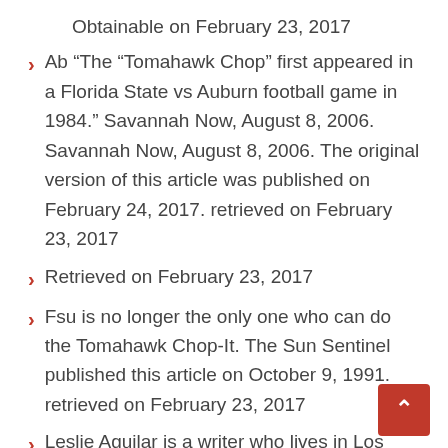Obtainable on February 23, 2017
Ab “The “Tomahawk Chop” first appeared in a Florida State vs Auburn football game in 1984.” Savannah Now, August 8, 2006. Savannah Now, August 8, 2006. The original version of this article was published on February 24, 2017. retrieved on February 23, 2017
Retrieved on February 23, 2017
Fsu is no longer the only one who can do the Tomahawk Chop-It. The Sun Sentinel published this article on October 9, 1991. retrieved on February 23, 2017
Leslie Aguilar is a writer who lives in Los